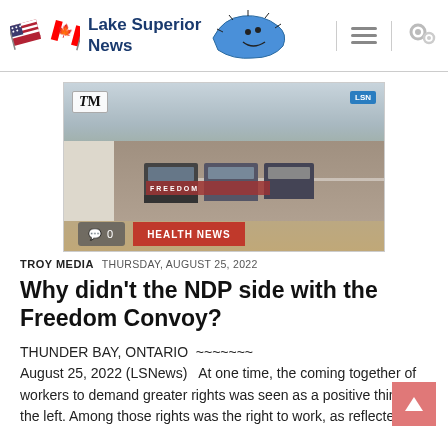Lake Superior News
[Figure (photo): A convoy of large transport trucks with FREEDOM banners on a snowy highway, viewed from above at an angle.]
TROY MEDIA   THURSDAY, AUGUST 25, 2022
Why didn't the NDP side with the Freedom Convoy?
THUNDER BAY, ONTARIO  ~~~~~~~~ August 25, 2022 (LSNews)   At one time, the coming together of workers to demand greater rights was seen as a positive thing by the left. Among those rights was the right to work, as reflected…